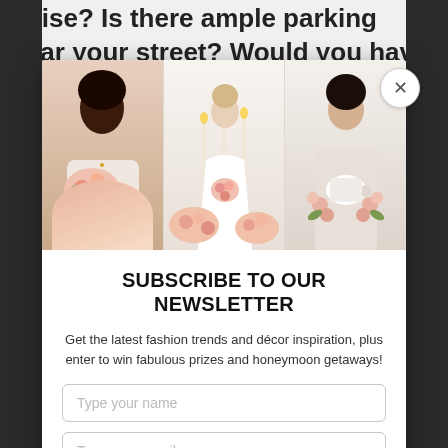noise? Is there ample parking near your street? Would you have potential “Karens” that may
[Figure (photo): Three women with flowers/floral arrangements in a wedding-themed photo collage: a Black woman with a bridal bouquet, a blonde bride in a white dress with candles and flowers, and an Asian woman with a floral arrangement]
SUBSCRIBE TO OUR NEWSLETTER
Get the latest fashion trends and décor inspiration, plus enter to win fabulous prizes and honeymoon getaways!
Type your name
Type your email
SUBMIT